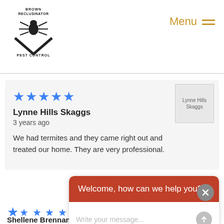[Figure (logo): Brown Reclusinator Pest Control logo with spider graphic and chevron/arrow design]
Menu
[Figure (photo): Profile avatar image for Lynne Hills Skaggs]
★★★★★
Lynne Hills Skaggs
3 years ago
We had termites and they came right out and treated our home. They are very professional.
Welcome, how can we help you?
Write your message...
★
Shellene Brennan